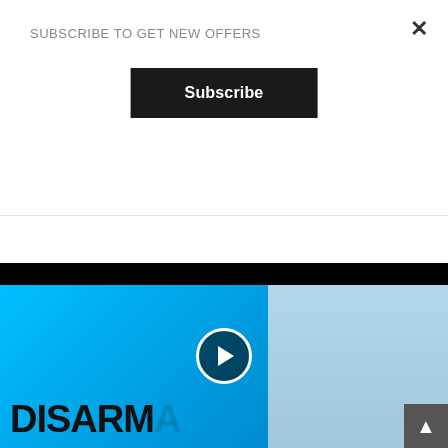SUBSCRIBE TO GET NEW OFFERS
×
Subscribe
Backpack
£40.00
[Figure (screenshot): Video thumbnail showing a man against a blue background with the text 'DISARMA' and a play button overlay]
▲